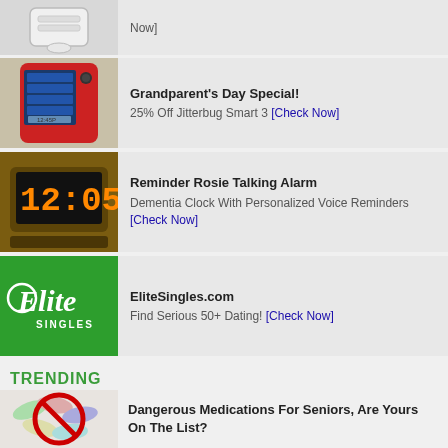[Figure (photo): Partial view of a medical alert device, white/grey colors]
Now]
[Figure (photo): Red smartphone showing text message, camera, photo album, email icons with time 12:45P]
Grandparent's Day Special!
25% Off Jitterbug Smart 3 [Check Now]
[Figure (photo): Digital alarm clock showing 12:05 in orange LED digits]
Reminder Rosie Talking Alarm
Dementia Clock With Personalized Voice Reminders [Check Now]
[Figure (logo): Elite Singles green logo with cursive Elite and SINGLES text below]
EliteSingles.com
Find Serious 50+ Dating! [Check Now]
TRENDING
[Figure (photo): Pills and tablets with a red no symbol overlaid]
Dangerous Medications For Seniors, Are Yours On The List?